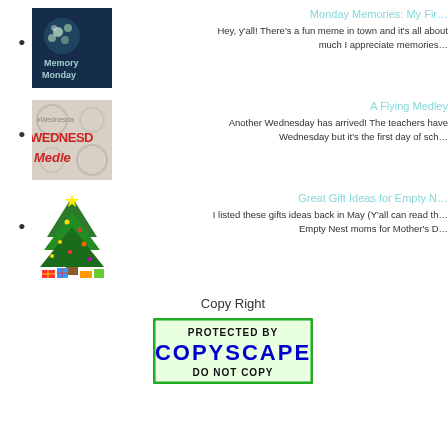Monday Memories: My Fir... Hey, y'all! There's a fun meme in town and it's all about much I appreciate memories...
A Flying Medley Another Wednesday has arrived! The teachers have Wednesday but it's the first day of sch...
Great Gift Ideas for Empty N... I listed these gifts ideas back in May (Y'all can read th... Empty Nest moms for Mother's D...
Copy Right
[Figure (logo): Copyscape PROTECTED BY COPYSCAPE DO NOT COPY badge with green border]